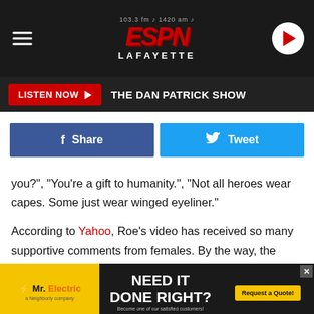[Figure (screenshot): ESPN Lafayette radio station header with logo, frequency 103.3 FM and 1420 AM, hamburger menu on left, play button on right]
[Figure (screenshot): Listen Now button with The Dan Patrick Show text on dark bar]
[Figure (screenshot): Facebook Share and Twitter Tweet social sharing buttons]
you?", “You’re a gift to humanity.", “Not all heroes wear capes. Some just wear winged eyeliner.”
According to Yahoo, Roe’s video has received so many supportive comments from females. By the way, the video has gone viral with more than 1.8 million likes and around 20,000 comments.
Roe must have been bothered by the fact that he was playin’ his wife because she “accidentally” mixed up the bags. YOU.
[Figure (screenshot): Mr. Electric advertisement banner: Need It Done Right, Request a Quote]